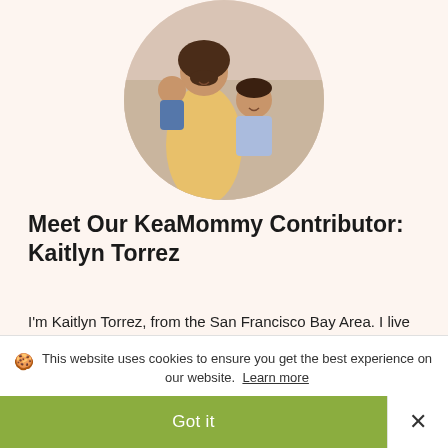[Figure (photo): Circular cropped photo of a woman holding two children, smiling indoors. Warm tones.]
Meet Our KeaMommy Contributor: Kaitlyn Torrez
I'm Kaitlyn Torrez, from the San Francisco Bay Area. I live with my husband and two children, Roman and Logan. I'm a former preschool teacher, currently enjoying being a stay at home mom. I love all things writing, coffee, and chocolate. In my
This website uses cookies to ensure you get the best experience on our website. Learn more
Got it